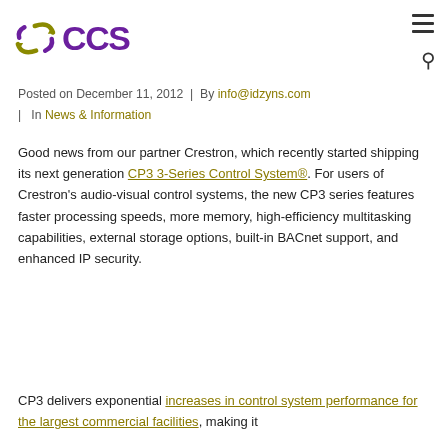[Figure (logo): CCS logo with olive/green circular arrows icon on the left and purple 'CCS' text]
Posted on December 11, 2012  |  By info@idzyns.com  |  In News & Information
Good news from our partner Crestron, which recently started shipping its next generation CP3 3-Series Control System®. For users of Crestron's audio-visual control systems, the new CP3 series features faster processing speeds, more memory, high-efficiency multitasking capabilities, external storage options, built-in BACnet support, and enhanced IP security.
CP3 delivers exponential increases in control system performance for the largest commercial facilities, making it